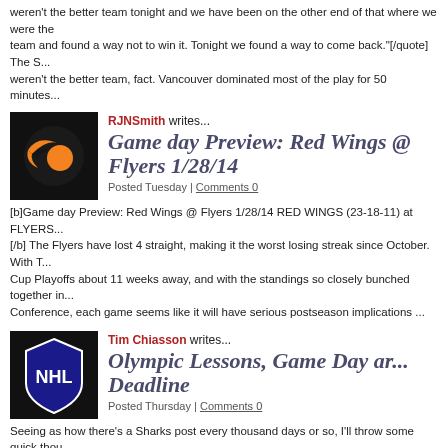weren't the better team tonight and we have been on the other end of that where we were the better team and found a way not to win it. Tonight we found a way to come back."[/quote] The S... weren't the better team, fact. Vancouver dominated most of the play for 50 minutes...
RJNSmith writes...
Game day Preview: Red Wings @ Flyers 1/28/14
Posted Tuesday | Comments 0
[b]Game day Preview: Red Wings @ Flyers 1/28/14 RED WINGS (23-18-11) at FLYERS [/b] The Flyers have lost 4 straight, making it the worst losing streak since October. With the Cup Playoffs about 11 weeks away, and with the standings so closely bunched together in the Conference, each game seems like it will have serious postseason implications ...
Tim Chiasson writes...
Olympic Lessons, Game Day and Deadline
Posted Thursday | Comments 0
Seeing as how there's a Sharks post every thousand days or so, I'll throw some quick thoughts. The NHL has finally returned to action. So, what did we learn from Sochi? Well, we learned Niemi is above-average at keeping the pine warm for Tukka Rask and that he should not be whatsoever when the Sharks take the ice again. We also learned that Joe P...
Tim Chiasson writes...
Shark Watch: Deadline Day Blo...